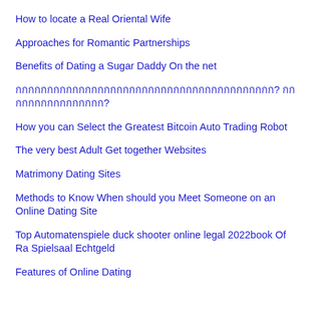How to locate a Real Oriental Wife
Approaches for Romantic Partnerships
Benefits of Dating a Sugar Daddy On the net
กกกกกกกกกกกกกกกกกกกกกกกกกกกกกกกกกกกกกกกกก? กกกกกกกกกกกกกกกก?
How you can Select the Greatest Bitcoin Auto Trading Robot
The very best Adult Get together Websites
Matrimony Dating Sites
Methods to Know When should you Meet Someone on an Online Dating Site
Top Automatenspiele duck shooter online legal 2022book Of Ra Spielsaal Echtgeld
Features of Online Dating